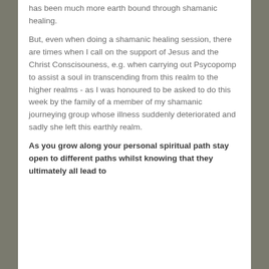has been much more earth bound through shamanic healing.
But, even when doing a shamanic healing session, there are times when I call on the support of Jesus and the Christ Conscisouness, e.g. when carrying out Psycopomp to assist a soul in transcending from this realm to the higher realms - as I was honoured to be asked to do this week by the family of a member of my shamanic journeying group whose illness suddenly deteriorated and sadly she left this earthly realm.
As you grow along your personal spiritual path stay open to different paths whilst knowing that they ultimately all lead to